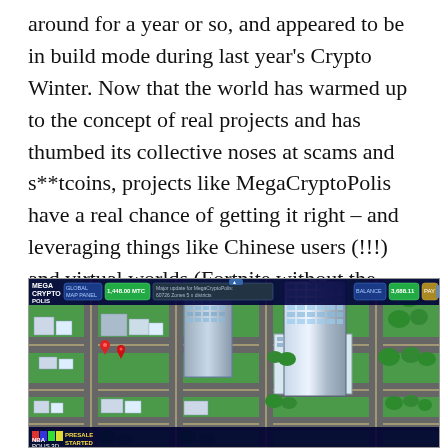around for a year or so, and appeared to be in build mode during last year's Crypto Winter. Now that the world has warmed up to the concept of real projects and has thumbed its collective noses at scams and s**tcoins, projects like MegaCryptoPolis have a real chance of getting it right – and leveraging things like Chinese users (!!!) and virtual worlds (Fortnite without the fighting) to create real economies.
[Figure (screenshot): Screenshot of MegaCryptoPolis blockchain city-building game showing an isometric city view with tall skyscrapers, roads, green spaces, and a top UI bar with game controls.]